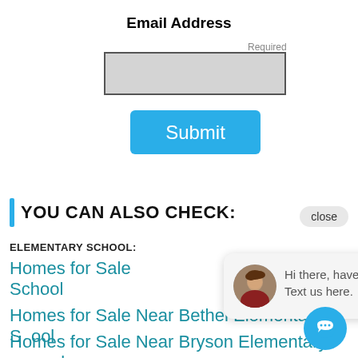Email Address
Required
[Figure (screenshot): Email address input field (greyed out rectangle with dark border)]
[Figure (screenshot): Blue Submit button with white text]
YOU CAN ALSO CHECK:
close
ELEMENTARY SCHOOL:
Homes for Sale Near ... Elementary School
Homes for Sale Near Bethel Elementary School
Homes for Sale Near Bryson Elementary School
Homes for Sale Near Buena Vista Elementary
[Figure (screenshot): Chat popup with avatar photo of woman and text: Hi there, have a question? Text us here.]
[Figure (screenshot): Blue circular chat FAB button with speech bubble icon]